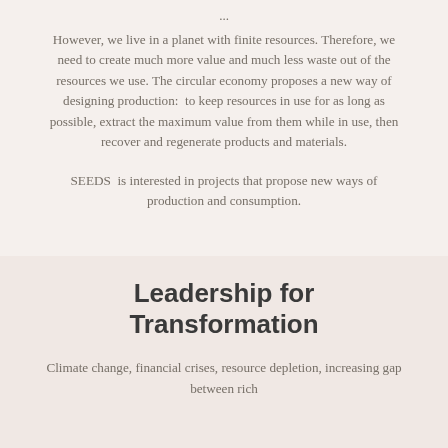However, we live in a planet with finite resources. Therefore, we need to create much more value and much less waste out of the resources we use. The circular economy proposes a new way of designing production:  to keep resources in use for as long as possible, extract the maximum value from them while in use, then recover and regenerate products and materials.
SEEDS  is interested in projects that propose new ways of production and consumption.
Leadership for Transformation
Climate change, financial crises, resource depletion, increasing gap between rich...